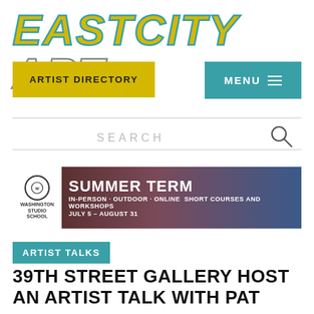[Figure (logo): EastCityArt logo in large stylized italic text, EASTCITY in yellow with teal outline, ART in white with gray outline]
[Figure (screenshot): ARTIST DIRECTORY button in yellow/gold background with bold black uppercase text]
[Figure (screenshot): MENU button with hamburger lines on teal/dark cyan background]
[Figure (screenshot): Search bar with SEARCH text in light gray uppercase letters and magnifying glass icon on the right]
[Figure (illustration): Advertisement banner for Washington Studio School Summer Term: IN-PERSON · OUTDOOR · ONLINE SHORT COURSES AND WORKSHOPS, JULY 5 – AUGUST 31]
ARTIST TALKS
39TH STREET GALLERY HOST AN ARTIST TALK WITH PAT